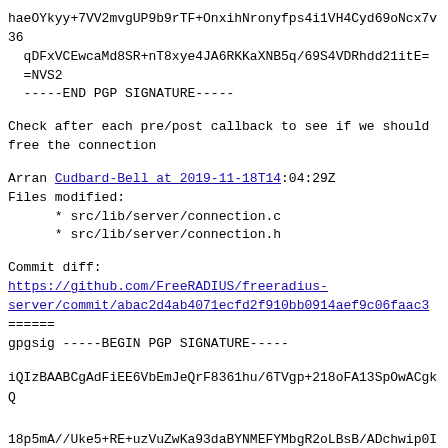haeOYkyy+7VV2mvgUP9b9rTF+OnxihNronyfps4i1VH4Cyd69oNcx7v36
  qDFxVCEwcaMd8SR+nT8xye4JA6RKKaXNB5q/69S4VDRhdd21itE=
  =NVS2
  -----END PGP SIGNATURE-----
Check after each pre/post callback to see if we should
free the connection
Arran Cudbard-Bell at 2019-11-18T14:04:29Z
Files modified:
      * src/lib/server/connection.c
      * src/lib/server/connection.h
Commit diff:
https://github.com/FreeRADIUS/freeradius-server/commit/abac2d4ab4071ecfd2f910bb0914aef9c06faac3
======
gpgsig -----BEGIN PGP SIGNATURE-----
iQIzBAABCgAdFiEE6VbEmJeQrF8361hu/6TVgp+218oFA13SpOwACgkQ

18p5mA//Uke5+RE+uzVuZwKa93daBYNMEFYMbgR2oLBsB/ADchwip0IS-

ij488/dgGimzV7Rh/ojNVmYmjURXWlugg66U6G/NcsIWR6nte8Rbe1Xxb

Eqlfuhob7fmjuOny0bscvBhkbhBWkSZgyWpDdMuRyXPhlzcmU6tOvczQ1

n1s9MdkwDKtfzFhGWgjAVLXj5+jur3HeW95gzQEI06fimAQrObpTZJ0Bk